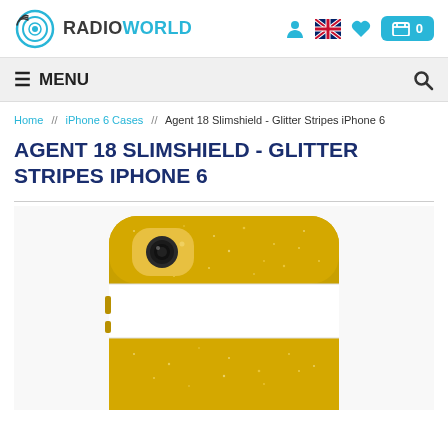RadioWorld header with logo, user icon, UK flag icon, heart icon, and cart (0)
≡ MENU    🔍
Home // iPhone 6 Cases // Agent 18 Slimshield - Glitter Stripes iPhone 6
AGENT 18 SLIMSHIELD - GLITTER STRIPES IPHONE 6
[Figure (photo): Photo of Agent 18 Slimshield Glitter Stripes iPhone 6 case in gold and white stripe pattern, showing the top portion of the case with the camera cutout visible]